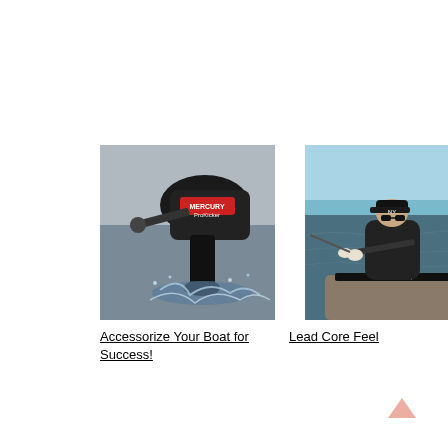[Figure (photo): Close-up of a Mercury Pro Kicker outboard motor on a boat with water splashing]
Accessorize Your Boat for Success!
[Figure (photo): Person fishing from a boat on open water, holding a Blackfish rod, wearing cap and sunglasses]
Lead Core Feel